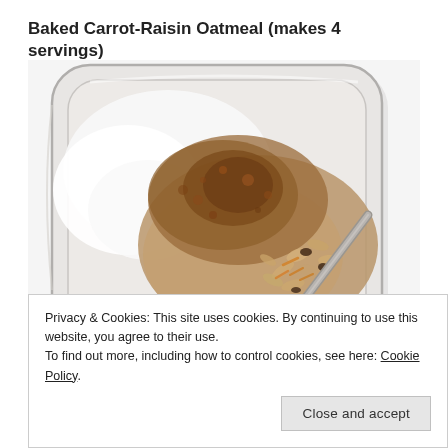Baked Carrot-Raisin Oatmeal (makes 4 servings)
[Figure (photo): A square glass food storage container viewed from above, containing baked oatmeal topped with cinnamon and yogurt or cream, with shredded carrots and oats visible, a spoon resting inside the container, on a white background.]
Privacy & Cookies: This site uses cookies. By continuing to use this website, you agree to their use.
To find out more, including how to control cookies, see here: Cookie Policy
Close and accept